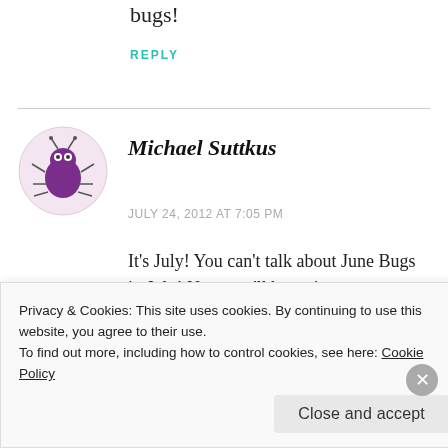bugs!
REPLY
Michael Suttkus
JULY 24, 2012 AT 7:05 PM
It's July! You can't talk about June Bugs in July! Next you'll be eating summer sausage in the winter and the entire global economy will
Privacy & Cookies: This site uses cookies. By continuing to use this website, you agree to their use.
To find out more, including how to control cookies, see here: Cookie Policy
Close and accept